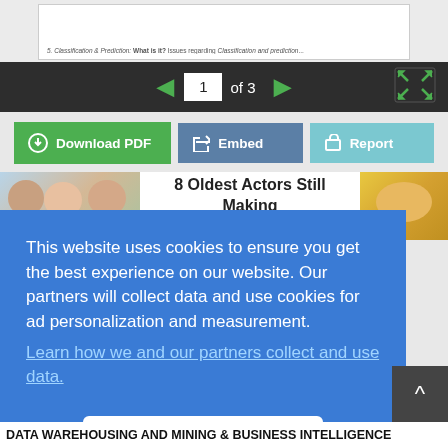[Figure (screenshot): Document preview area showing top of a white document page with partially visible text line about Classification & Prediction]
[Figure (screenshot): Pagination control bar (dark background) showing page 1 of 3 with left/right green arrows and fullscreen icon]
[Figure (screenshot): Three action buttons: green Download PDF, blue Embed, teal Report]
[Figure (screenshot): Article banner showing '8 Oldest Actors Still Making Movies' with photos on either side]
This website uses cookies to ensure you get the best experience on our website. Our partners will collect data and use cookies for ad personalization and measurement.
Learn how we and our partners collect and use data.
[Figure (screenshot): OK button (white rounded rectangle) to dismiss cookie consent dialog]
[Figure (screenshot): Scroll-to-top button (dark square with upward caret) in lower right]
DATA WAREHOUSING AND MINING & BUSINESS INTELLIGENCE